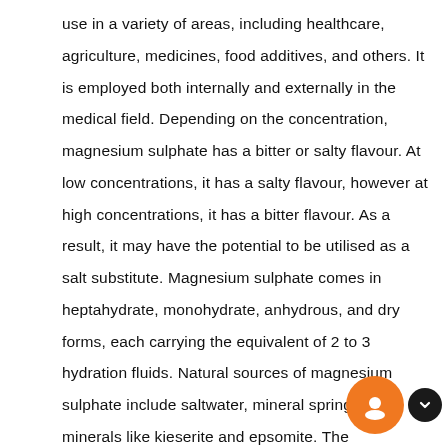use in a variety of areas, including healthcare, agriculture, medicines, food additives, and others. It is employed both internally and externally in the medical field. Depending on the concentration, magnesium sulphate has a bitter or salty flavour. At low concentrations, it has a salty flavour, however at high concentrations, it has a bitter flavour. As a result, it may have the potential to be utilised as a salt substitute. Magnesium sulphate comes in heptahydrate, monohydrate, anhydrous, and dry forms, each carrying the equivalent of 2 to 3 hydration fluids. Natural sources of magnesium sulphate include saltwater, mineral springs, and minerals like kieserite and epsomite. The heptahydrate of magnesium sulphate is made by dissolving kieserite in water and then crystallising the heptahydrate. Magnesium sulphate is a fertiliser, a food supplement in animal feed, and a cathartic and analgesic in medicine. It is employed as a coagulant agent in rubber and plastics, in various plating baths, and as a drying